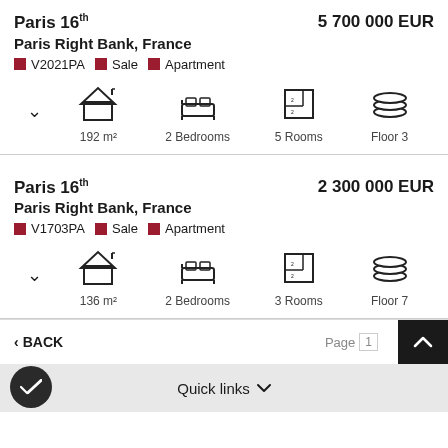Paris 16th — 5 700 000 EUR
Paris Right Bank, France
V2021PA | Sale | Apartment
192 m² | 2 Bedrooms | 5 Rooms | Floor 3
Paris 16th — 2 300 000 EUR
Paris Right Bank, France
V1703PA | Sale | Apartment
136 m² | 2 Bedrooms | 3 Rooms | Floor 7
< BACK   Page 1
Quick links ∨